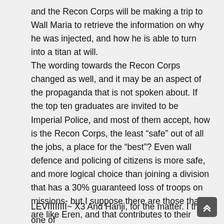and the Recon Corps will be making a trip to Wall Maria to retrieve the information on why he was injected, and how he is able to turn into a titan at will.
The wording towards the Recon Corps changed as well, and it may be an aspect of the propaganda that is not spoken about. If the top ten graduates are invited to be Imperial Police, and most of them accept, how is the Recon Corps, the least “safe” out of all the jobs, a place for the “best”? Even wall defence and policing of citizens is more safe, and more logical choice than joining a division that has a 30% guaranteed loss of troops on missions- but I suppose there are those that are like Eren, and that contributes to their ability to adapt and fight better.
LEVIIIIIIII~ X3 And Hanji, for the matter. I think one of